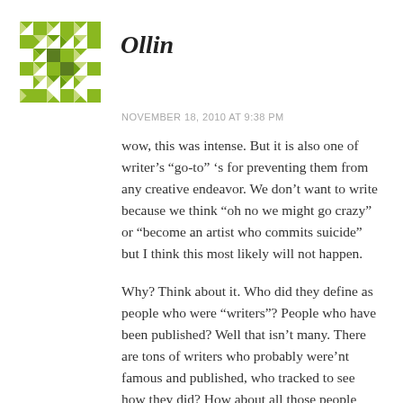Ollin
NOVEMBER 18, 2010 AT 9:38 PM
wow, this was intense. But it is also one of writer’s “go-to” ‘s for preventing them from any creative endeavor. We don’t want to write because we think “oh no we might go crazy” or “become an artist who commits suicide” but I think this most likely will not happen.
Why? Think about it. Who did they define as people who were “writers”? People who have been published? Well that isn’t many. There are tons of writers who probably were’nt famous and published, who tracked to see how they did? How about all those people